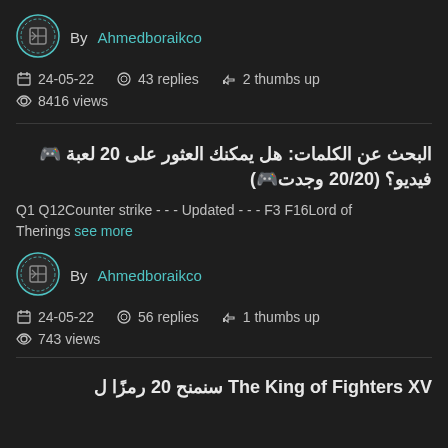[Figure (other): User avatar icon for Ahmedboraikco with teal circular border]
By Ahmedboraikco
24-05-22   43 replies   2 thumbs up
8416 views
البحث عن الكلمات: هل يمكنك العثور على 20 لعبة 🎮 فيديو؟ (20/20 وجدت🎮)
Q1 Q12Counter strike - - - Updated - - - F3 F16Lord of Therings see more
[Figure (other): User avatar icon for Ahmedboraikco with teal circular border]
By Ahmedboraikco
24-05-22   56 replies   1 thumbs up
743 views
The King of Fighters XV سنمنح 20 رمزًا ل